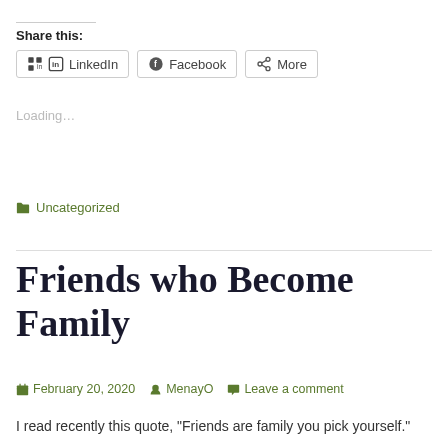Share this:
LinkedIn   Facebook   More
Loading…
Uncategorized
Friends who Become Family
February 20, 2020   MenayO   Leave a comment
I read recently this quote, "Friends are family you pick yourself."